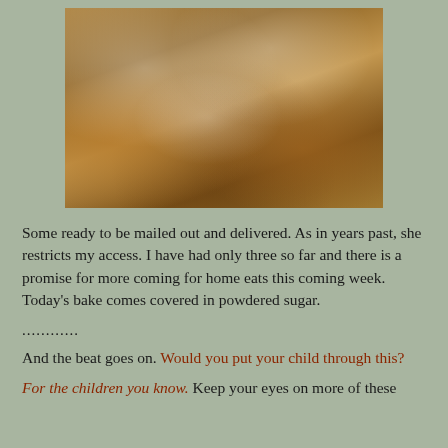[Figure (photo): Baked goods (cookies/pastries) wrapped in individual plastic bags, arranged in a wooden box, ready to be mailed out]
Some ready to be mailed out and delivered. As in years past, she restricts my access. I have had only three so far and there is a promise for more coming for home eats this coming week. Today's bake comes covered in powdered sugar.
............
And the beat goes on. Would you put your child through this?
For the children you know. Keep your eyes on more of these